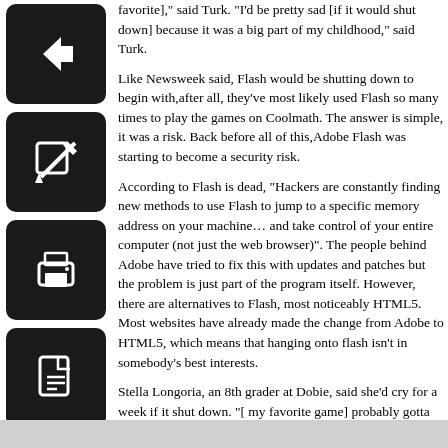[Figure (illustration): Black rounded square button with a left-pointing arrow icon (back navigation button)]
[Figure (illustration): Black rounded square button with a pencil/edit icon]
[Figure (illustration): Black rounded square button with a printer icon]
[Figure (illustration): Black rounded square button with a PDF/document icon]
favorite]," said Turk.  "I'd be pretty sad [if it would shut down] because it was a big part of my childhood," said Turk.
Like Newsweek said, Flash would be shutting down to begin with,after all, they've most likely used Flash so many times to play the games on Coolmath. The answer is simple, it was a risk. Back before all of this,Adobe Flash was starting to become a security risk.
According to Flash is dead, "Hackers are constantly finding new methods to use Flash to jump to a specific memory address on your machine… and take control of your entire computer (not just the web browser)".  The people behind Adobe have tried to fix this with updates and patches but the problem is just part of the program itself.  However, there are alternatives to Flash, most noticeably HTML5.  Most websites have already made the change from Adobe to HTML5, which means that hanging onto flash isn't in somebody's best interests.
Stella Longoria, an 8th grader at Dobie, said she'd cry for a week if it shut down. "[ my favorite game] probably gotta be papas Scooperia and I would miss it, and I'd cry for a week. I thought it would last longer because it's been around for so long," said Longoria.